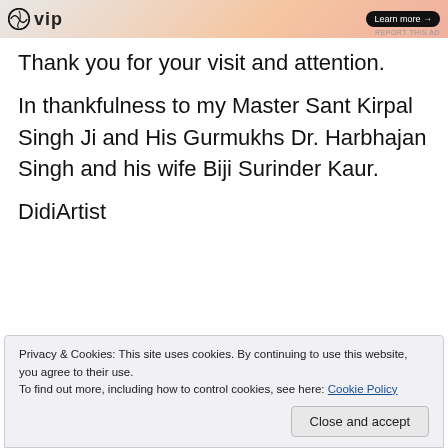[Figure (screenshot): WordPress VIP advertisement banner with logo and Learn more button]
Thank you for your visit and attention.
In thankfulness to my Master Sant Kirpal Singh Ji and His Gurmukhs Dr. Harbhajan Singh and his wife Biji Surinder Kaur.
DidiArtist
Privacy & Cookies: This site uses cookies. By continuing to use this website, you agree to their use.
To find out more, including how to control cookies, see here: Cookie Policy